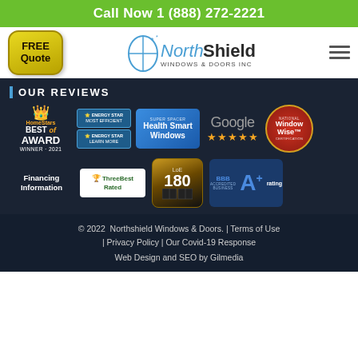Call Now 1 (888) 272-2221
[Figure (logo): FREE Quote button, NorthShield Windows & Doors Inc logo, hamburger menu icon]
OUR REVIEWS
[Figure (logo): HomeStars Best of Award Winner 2021 badge, Energy Star badges, Health Smart Windows badge, Google 5-star rating, Window Wise National Certification badge, Financing Information text, ThreeBest Rated badge, LoE 180 badge, BBB A+ rating badge]
© 2022 Northshield Windows & Doors. | Terms of Use | Privacy Policy | Our Covid-19 Response Web Design and SEO by Gilmedia